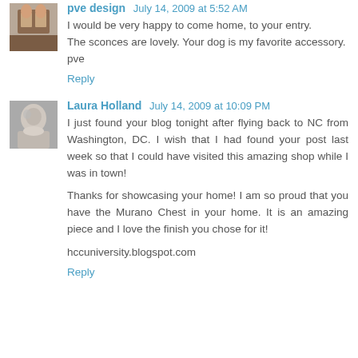pve design  July 14, 2009 at 5:52 AM
I would be very happy to come home, to your entry.
The sconces are lovely. Your dog is my favorite accessory.
pve
Reply
Laura Holland  July 14, 2009 at 10:09 PM
I just found your blog tonight after flying back to NC from Washington, DC. I wish that I had found your post last week so that I could have visited this amazing shop while I was in town!
Thanks for showcasing your home! I am so proud that you have the Murano Chest in your home. It is an amazing piece and I love the finish you chose for it!
hccuniversity.blogspot.com
Reply